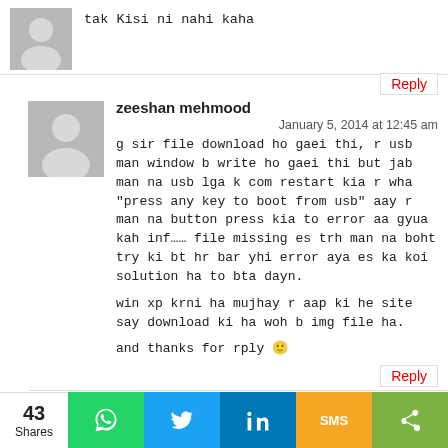tak Kisi ni nahi kaha
Reply
zeeshan mehmood
January 5, 2014 at 12:45 am
g sir file download ho gaei thi, r usb man window b write ho gaei thi but jab man na usb lga k com restart kia r wha "press any key to boot from usb" aay r man na button press kia to error aa gyua kah inf…… file missing es trh man na boht try ki bt hr bar yhi error aya es ka koi solution ha to bta dayn.
win xp krni ha mujhay r aap ki he site say download ki ha woh b img file ha.
and thanks for rply 🙂
Reply
Muhammad Niaz
December 24, 2013 at 6:13 pm
Dear Karachi Main Mojod hai Landhi Sherpao
43 Shares